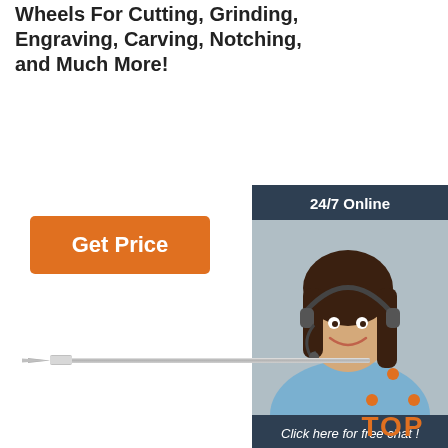Wheels For Cutting, Grinding, Engraving, Carving, Notching, and Much More!
[Figure (other): Orange 'Get Price' button]
[Figure (other): Side widget with '24/7 Online' header, customer service representative photo, 'Click here for free chat!' text, and orange 'QUOTATION' button on dark navy background]
[Figure (other): Long thin needle/bit tool illustration on white background]
[Figure (other): Orange 'TOP' badge with dot triangle above it]